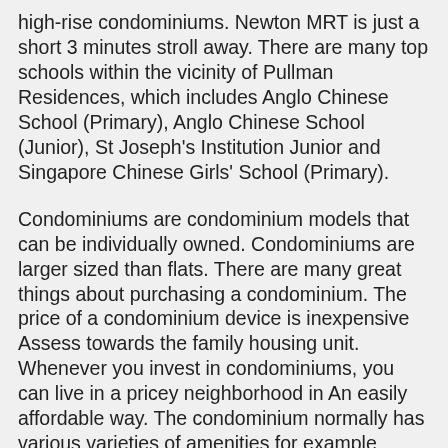high-rise condominiums. Newton MRT is just a short 3 minutes stroll away. There are many top schools within the vicinity of Pullman Residences, which includes Anglo Chinese School (Primary), Anglo Chinese School (Junior), St Joseph's Institution Junior and Singapore Chinese Girls' School (Primary).
Condominiums are condominium models that can be individually owned. Condominiums are larger sized than flats. There are many great things about purchasing a condominium. The price of a condominium device is inexpensive Assess towards the family housing unit. Whenever you invest in condominiums, you can live in a pricey neighborhood in An easily affordable way. The condominium normally has various varieties of amenities for example tropical swimming swimming pools, steam area, fitness center, and a number of other amenities. All condominiums are secured by stability guards with critical card accessibility so that